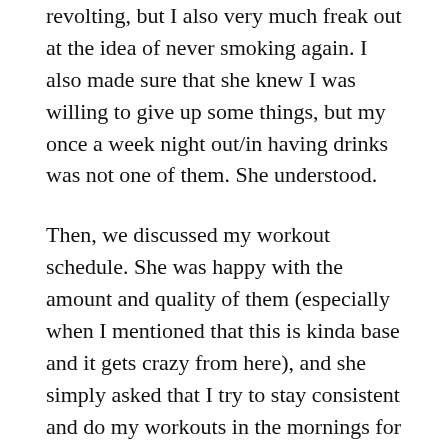revolting, but I also very much freak out at the idea of never smoking again.  I also made sure that she knew I was willing to give up some things, but my once a week night out/in having drinks was not one of them.  She understood.
Then, we discussed my workout schedule.  She was happy with the amount and quality of them (especially when I mentioned that this is kinda base and it gets crazy from here), and she simply asked that I try to stay consistent and do my workouts in the mornings for the time being while we play with my dietary intake.  It’s what I’ve generally been doing, so no biggie.
We discussed calories in, calories out.  She said that sure, it had worked for me before because it was such a